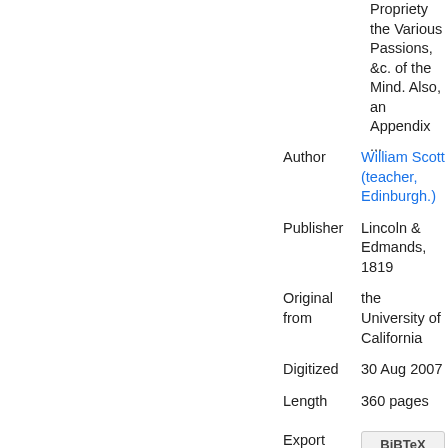Propriety the Various Passions, &c. of the Mind. Also, an Appendix ...
| Field | Value |
| --- | --- |
| Author | William Scott (teacher, Edinburgh.) |
| Publisher | Lincoln & Edmands, 1819 |
| Original from | the University of California |
| Digitized | 30 Aug 2007 |
| Length | 360 pages |
| Export Citation | BiBTeX | EndNote | RefMan |